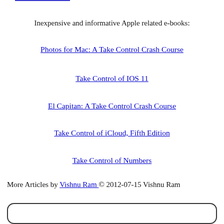Inexpensive and informative Apple related e-books:
Photos for Mac: A Take Control Crash Course
Take Control of IOS 11
El Capitan: A Take Control Crash Course
Take Control of iCloud, Fifth Edition
Take Control of Numbers
More Articles by Vishnu Ram © 2012-07-15 Vishnu Ram